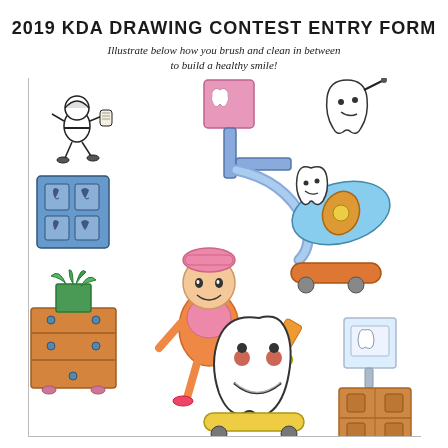2019 KDA DRAWING CONTEST ENTRY FORM
Illustrate below how you brush and clean in between to build a healthy smile!
[Figure (illustration): Child's crayon drawing for dental health contest featuring: a cartoon character (mascot) running with a scroll in the upper left, a blue poster with dental X-ray images on the left side, a plant in a wooden pot/dresser, a dental X-ray machine in the center top, a blue wavy dental instrument/hose, a tooth-shaped character with wings on a skateboard on the right, a cartoon tooth character at the top right with a dental tool, a girl brushing a large smiling tooth character that is on a skateboard in the center-bottom, and a dental chair/equipment on the bottom right.]